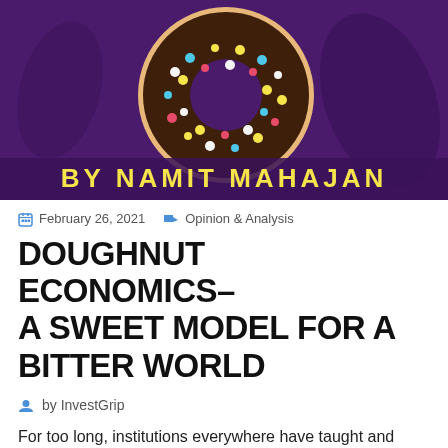[Figure (illustration): Dark purple background with a chocolate donut with colorful sprinkles (white, blue, pink, yellow dots) centered in the upper portion. Text 'BY NAMIT MAHAJAN' appears in bold white/yellow letters at the bottom of the image.]
February 26, 2021   Opinion & Analysis
DOUGHNUT ECONOMICS- A SWEET MODEL FOR A BITTER WORLD
by InvestGrip
For too long, institutions everywhere have taught and followed mainstream, neoclassical economic models, like the Supply-Demand Model by Jevons